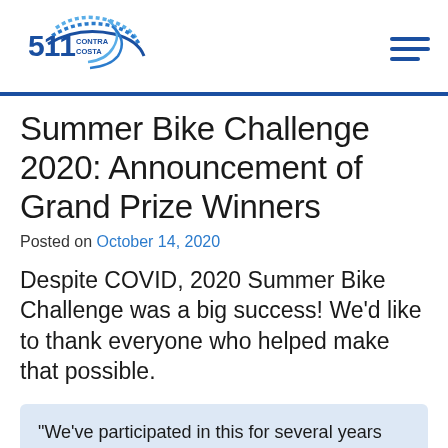[Figure (logo): 511 Contra Costa logo with blue swoosh graphic]
Summer Bike Challenge 2020: Announcement of Grand Prize Winners
Posted on October 14, 2020
Despite COVID, 2020 Summer Bike Challenge was a big success! We'd like to thank everyone who helped make that possible.
“We’ve participated in this for several years now and are SO happy you figured out how to do it